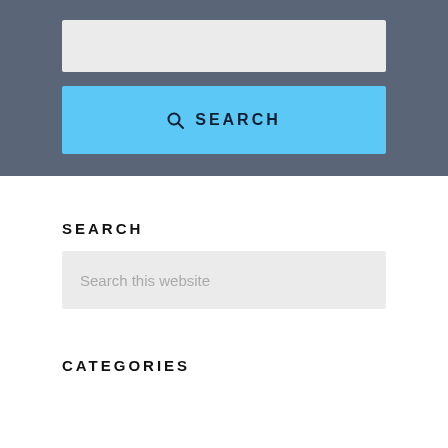[Figure (screenshot): Search panel with a light gray input box and a blue SEARCH button, on a dark blue-gray background]
SEARCH
Search this website
CATEGORIES